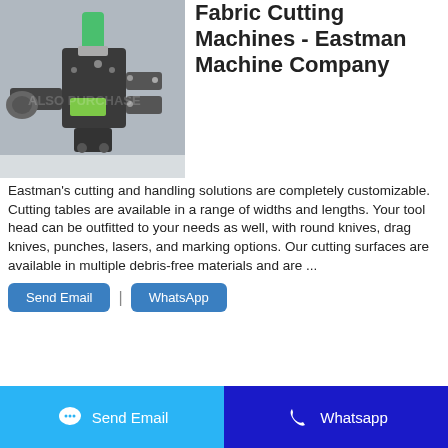[Figure (photo): Photo of an Eastman fabric cutting machine head with green component on top, showing mechanical cutting assembly with various attachments]
Fabric Cutting Machines - Eastman Machine Company
Eastman's cutting and handling solutions are completely customizable. Cutting tables are available in a range of widths and lengths. Your tool head can be outfitted to your needs as well, with round knives, drag knives, punches, lasers, and marking options. Our cutting surfaces are available in multiple debris-free materials and are ...
Send Email | WhatsApp
Send Email
Whatsapp